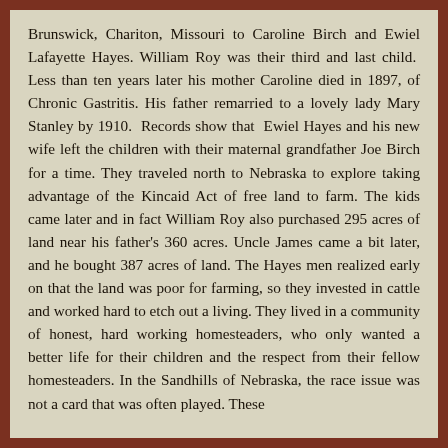Brunswick, Chariton, Missouri to Caroline Birch and Ewiel Lafayette Hayes. William Roy was their third and last child.  Less than ten years later his mother Caroline died in 1897, of Chronic Gastritis. His father remarried to a lovely lady Mary Stanley by 1910.  Records show that  Ewiel Hayes and his new wife left the children with their maternal grandfather Joe Birch for a time. They traveled north to Nebraska to explore taking advantage of the Kincaid Act of free land to farm. The kids came later and in fact William Roy also purchased 295 acres of land near his father's 360 acres. Uncle James came a bit later, and he bought 387 acres of land. The Hayes men realized early on that the land was poor for farming, so they invested in cattle and worked hard to etch out a living. They lived in a community of honest, hard working homesteaders, who only wanted a better life for their children and the respect from their fellow homesteaders. In the Sandhills of Nebraska, the race issue was not a card that was often played. These